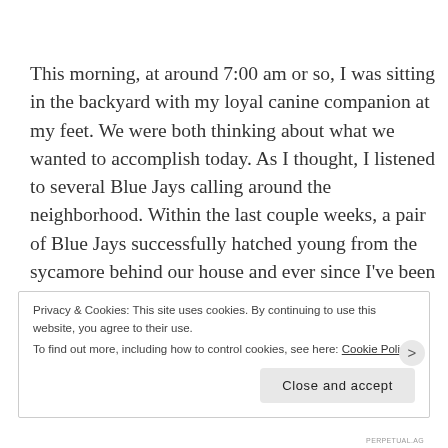This morning, at around 7:00 am or so, I was sitting in the backyard with my loyal canine companion at my feet. We were both thinking about what we wanted to accomplish today. As I thought, I listened to several Blue Jays calling around the neighborhood. Within the last couple weeks, a pair of Blue Jays successfully hatched young from the sycamore behind our house and ever since I've been listening to the calls of hidden fledglings as they beg
Privacy & Cookies: This site uses cookies. By continuing to use this website, you agree to their use.
To find out more, including how to control cookies, see here: Cookie Policy
Close and accept